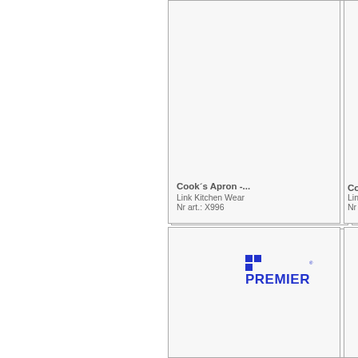[Figure (other): Product card for Cook's Apron - Link Kitchen Wear, Nr art.: X996, partially visible on left side]
Cook´s Apron -...
Link Kitchen Wear
Nr art.: X996
[Figure (other): Product card for Cook's Apron - Link Kitchen Wear, Nr art.: X9..., partially cut off on right side]
Cook´s ...
Link Kitch...
Nr art.: X9...
[Figure (logo): PREMIER logo with blue pixel squares, shown in bottom-left product card area]
[Figure (other): Partially visible product card on bottom right, cut off]